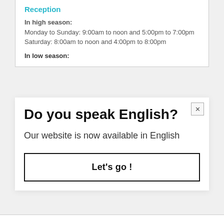Reception
In high season:
Monday to Sunday: 9:00am to noon and 5:00pm to 7:00pm
Saturday: 8:00am to noon and 4:00pm to 8:00pm
In low season:
Do you speak English?
Our website is now available in English
Let's go !